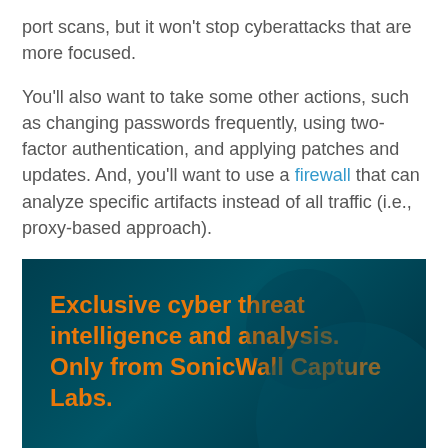port scans, but it won't stop cyberattacks that are more focused.
You'll also want to take some other actions, such as changing passwords frequently, using two-factor authentication, and applying patches and updates. And, you'll want to use a firewall that can analyze specific artifacts instead of all traffic (i.e., proxy-based approach).
[Figure (infographic): Dark teal banner with orange heading 'Exclusive cyber threat intelligence and analysis. Only from SonicWall Capture Labs.' and white text beginning 'Download the complete 2019' with '2019' in orange.]